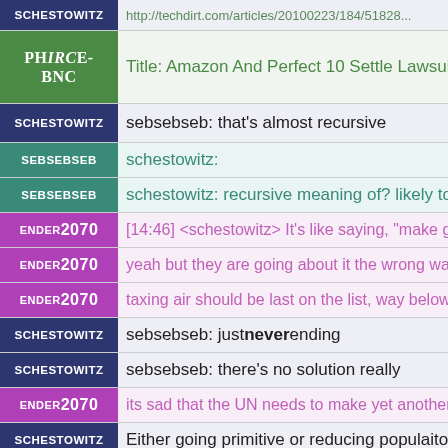SCHESTOWITZ | http://techdirt.com/articles/20100223/184/51828...
phIRCe-BNc | Title: Amazon And Perfect 10 Settle Lawsuit; But...
SCHESTOWITZ | sebsebseb: that's almost recursive
SEBSEBSEB | schestowitz:
SEBSEBSEB | schestowitz: recursive meaning of?  likely to happ...
ENDER2070 | [14:46] <schestowitz> It's like saying, "make gove...
ENDER2070 | yeah but they are going about it the wrong way
ENDER2070 | taxing air should be last on the list, way below shu...
SCHESTOWITZ | sebsebseb: just never ending
SCHESTOWITZ | sebsebseb: there's no solution really
ENDER2070 | its sad that the UN needs to make yet another pane...
SCHESTOWITZ | Either going primitive or reducing populaiton gro...
ENDER2070 | then we'll need another panel to reduce the lies of...
SCHESTOWITZ | Possible to do both
SCHESTOWITZ | But to feed today's population you need a lot of...